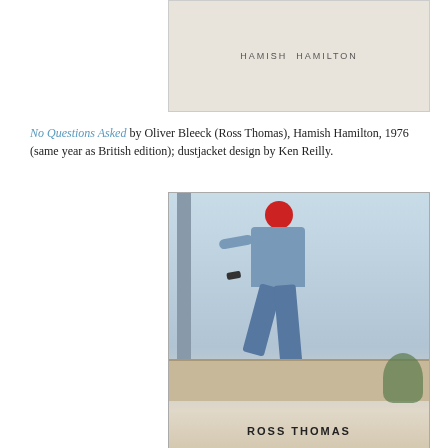[Figure (photo): Top portion of a book showing 'HAMISH HAMILTON' publisher text on a light-colored/cream background]
No Questions Asked by Oliver Bleeck (Ross Thomas), Hamish Hamilton, 1976 (same year as British edition); dustjacket design by Ken Reilly.
[Figure (photo): Book cover showing a man in a red ski mask and blue shirt and jeans, crouching/kneeling on a wall aiming a gun at the viewer. Author name 'ROSS THOMAS' visible at the bottom of the cover.]